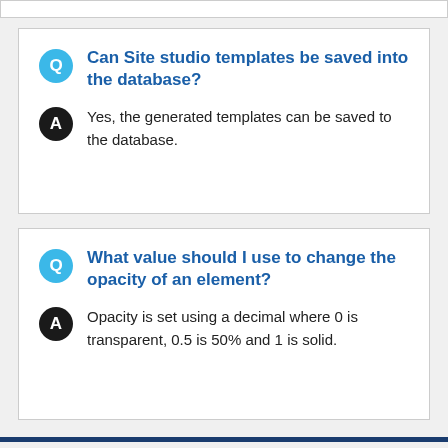Can Site studio templates be saved into the database?
Yes, the generated templates can be saved to the database.
What value should I use to change the opacity of an element?
Opacity is set using a decimal where 0 is transparent, 0.5 is 50% and 1 is solid.